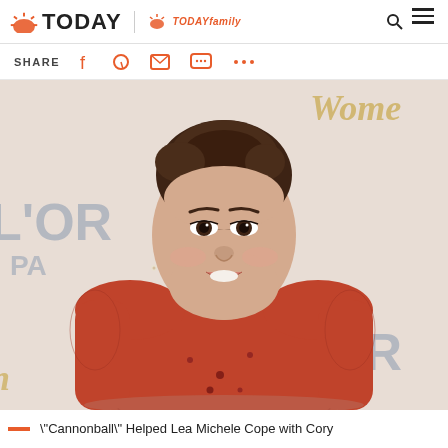TODAY | TODAY Family
SHARE
[Figure (photo): Woman with dark hair pulled back, smiling, wearing a red lace long-sleeve dress with embellishments, standing in front of an L'Oreal Paris branded step-and-repeat backdrop.]
"Cannonball" Helped Lea Michele Cope with Cory